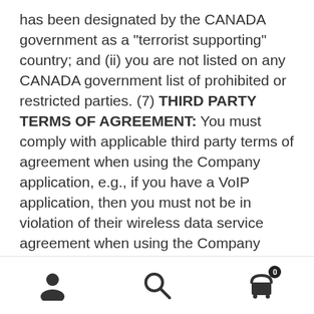has been designated by the CANADA government as a "terrorist supporting" country; and (ii) you are not listed on any CANADA government list of prohibited or restricted parties. (7) THIRD PARTY TERMS OF AGREEMENT: You must comply with applicable third party terms of agreement when using the Company application, e.g., if you have a VoIP application, then you must not be in violation of their wireless data service agreement when using the Company application. (8) THIRD PARTY BENEFICIARY: Company and you acknowledge and agree that the App Distributors, and their subsidiaries, are third party beneficiaries of this Agreement, and that, upon your acceptance of the terms and conditions of this Agreement, each App
[navigation icons: user, search, cart]